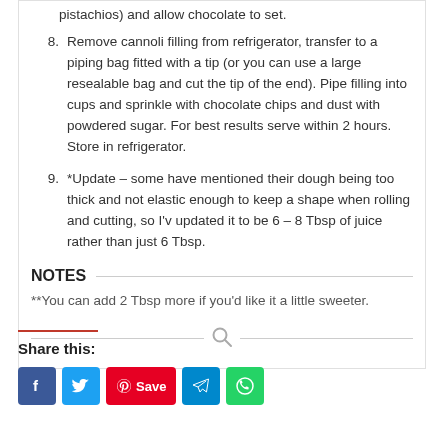8. Remove cannoli filling from refrigerator, transfer to a piping bag fitted with a tip (or you can use a large resealable bag and cut the tip of the end). Pipe filling into cups and sprinkle with chocolate chips and dust with powdered sugar. For best results serve within 2 hours. Store in refrigerator.
9. *Update – some have mentioned their dough being too thick and not elastic enough to keep a shape when rolling and cutting, so I'v updated it to be 6 – 8 Tbsp of juice rather than just 6 Tbsp.
NOTES
**You can add 2 Tbsp more if you'd like it a little sweeter.
Share this: